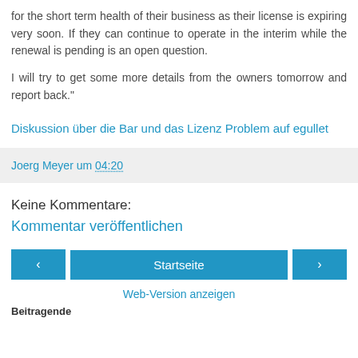for the short term health of their business as their license is expiring very soon. If they can continue to operate in the interim while the renewal is pending is an open question.
I will try to get some more details from the owners tomorrow and report back."
Diskussion über die Bar und das Lizenz Problem auf egullet
Joerg Meyer um 04:20
Keine Kommentare:
Kommentar veröffentlichen
‹  Startseite  ›
Web-Version anzeigen
Beitragende